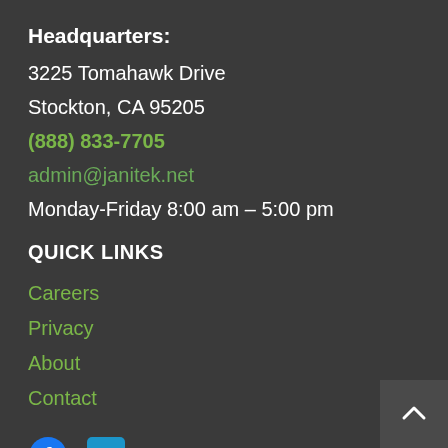Headquarters:
3225 Tomahawk Drive
Stockton, CA 95205
(888) 833-7705
admin@janitek.net
Monday-Friday 8:00 am – 5:00 pm
QUICK LINKS
Careers
Privacy
About
Contact
[Figure (logo): Facebook and LinkedIn social media icons]
Newsletter Signup